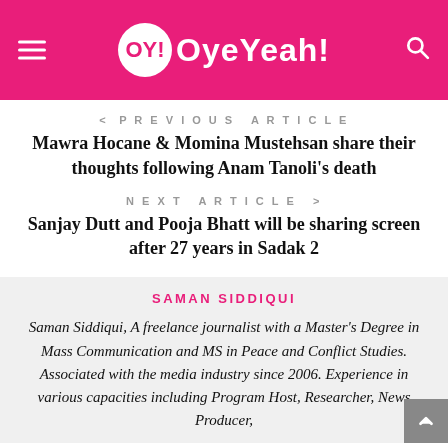OY! OyeYeah!
< PREVIOUS ARTICLE
Mawra Hocane & Momina Mustehsan share their thoughts following Anam Tanoli's death
NEXT ARTICLE >
Sanjay Dutt and Pooja Bhatt will be sharing screen after 27 years in Sadak 2
SAMAN SIDDIQUI
Saman Siddiqui, A freelance journalist with a Master's Degree in Mass Communication and MS in Peace and Conflict Studies. Associated with the media industry since 2006. Experience in various capacities including Program Host, Researcher, News Producer,